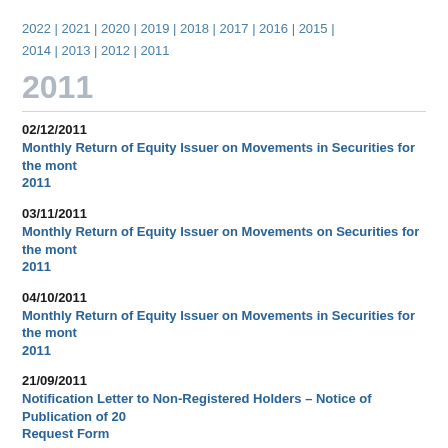2022 | 2021 | 2020 | 2019 | 2018 | 2017 | 2016 | 2015 | 2014 | 2013 | 2012 | 2011
2011
02/12/2011
Monthly Return of Equity Issuer on Movements in Securities for the month 2011
03/11/2011
Monthly Return of Equity Issuer on Movements on Securities for the month 2011
04/10/2011
Monthly Return of Equity Issuer on Movements in Securities for the month 2011
21/09/2011
Notification Letter to Non-Registered Holders – Notice of Publication of 20 Request Form